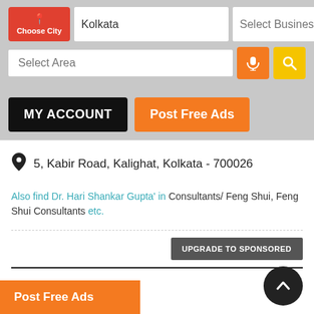[Figure (screenshot): Mobile app search interface with Choose City button (red), Kolkata city input, Select Business input, Select Area input, microphone button (orange), search button (yellow)]
MY ACCOUNT
Post Free Ads
5, Kabir Road, Kalighat, Kolkata - 700026
Also find Dr. Hari Shankar Gupta' in Consultants/ Feng Shui, Feng Shui Consultants etc.
UPGRADE TO SPONSORED
ASTRO VASTU
Post Free Ads